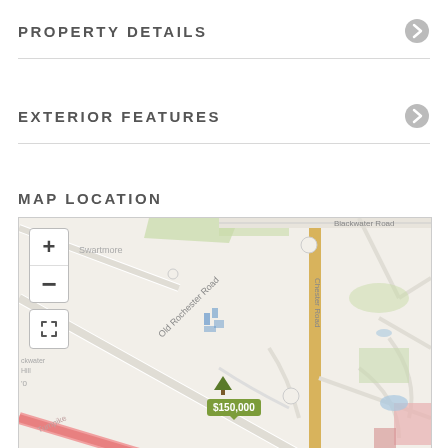PROPERTY DETAILS
EXTERIOR FEATURES
MAP LOCATION
[Figure (map): Street map showing property location with price tag $150,000 near Old Rochester Road and Blackwater Road intersection. Map includes zoom controls (+/-) and fullscreen button.]